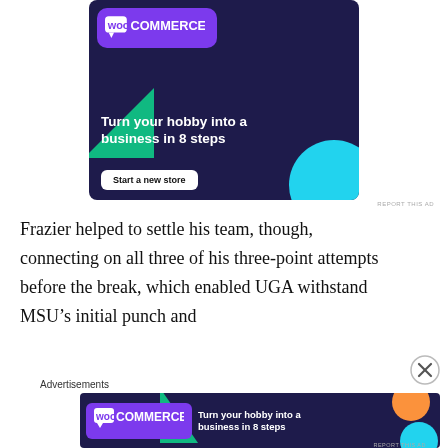[Figure (illustration): WooCommerce advertisement banner: dark navy background with purple logo badge top-left, green triangle bottom-left, cyan circle bottom-right. Text: 'Turn your hobby into a business in 8 steps'. White button: 'Start a new store'.]
Frazier helped to settle his team, though, connecting on all three of his three-point attempts before the break, which enabled UGA withstand MSU's initial punch and
Advertisements
[Figure (illustration): WooCommerce advertisement banner (smaller): dark navy background, green triangle, orange circle, cyan circle, purple WooCommerce logo badge, text 'Turn your hobby into a business in 8 steps'.]